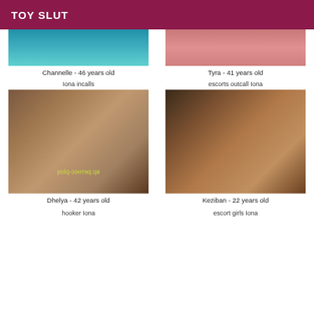TOY SLUT
Channelle - 46 years old
Tyra - 41 years old
Iona incalls
escorts outcall Iona
[Figure (photo): Photo of Dhelya, woman with reddish-brown hair, with watermark text]
[Figure (photo): Photo of Keziban, woman with dark hair]
Dhelya - 42 years old
Keziban - 22 years old
hooker Iona
escort girls Iona